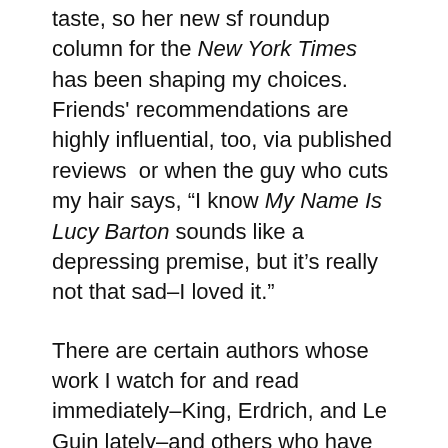taste, so her new sf roundup column for the New York Times has been shaping my choices. Friends' recommendations are highly influential, too, via published reviews  or when the guy who cuts my hair says, "I know My Name Is Lucy Barton sounds like a depressing premise, but it's really not that sad–I loved it."
There are certain authors whose work I watch for and read immediately–King, Erdrich, and Le Guin lately–and others who have been languishing in my must-read pile forever. I also read books by old friends and new acquaintances, often spurred to do so by the prospect of seeing the person soon. My project since joining the AWP board, for instance, is to read one book by each of my very